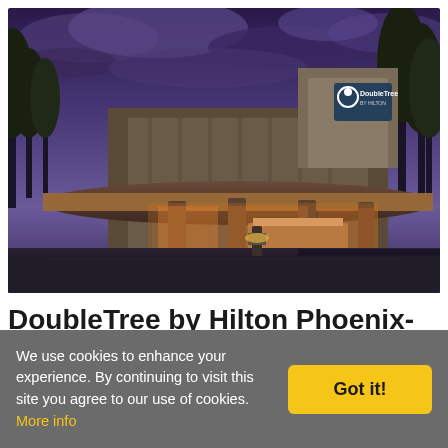[Figure (photo): Exterior dusk photo of the DoubleTree by Hilton Phoenix-Tempe hotel, showing the illuminated entrance canopy, lobby area, and the DoubleTree by Hilton logo sign on the building against a dramatic purple-blue cloudy sky with trees in the background.]
DoubleTree by Hilton Phoenix-Tempe (35.56 mi)
We use cookies to enhance your experience. By continuing to visit this site you agree to our use of cookies. More info